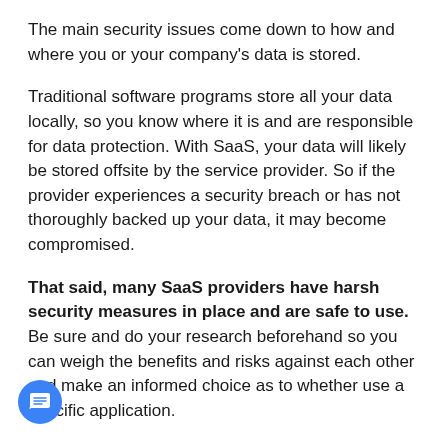The main security issues come down to how and where you or your company's data is stored.
Traditional software programs store all your data locally, so you know where it is and are responsible for data protection. With SaaS, your data will likely be stored offsite by the service provider. So if the provider experiences a security breach or has not thoroughly backed up your data, it may become compromised.
That said, many SaaS providers have harsh security measures in place and are safe to use. Be sure and do your research beforehand so you can weigh the benefits and risks against each other and make an informed choice as to whether use a specific application.